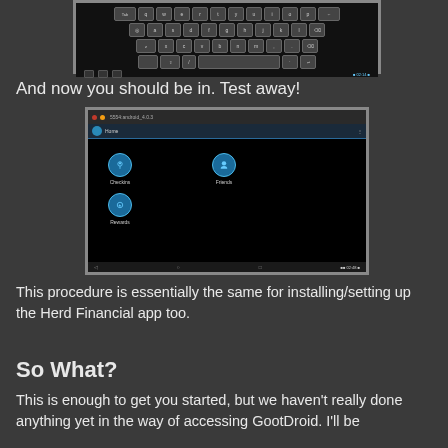[Figure (screenshot): Android keyboard screenshot at top of page]
And now you should be in. Test away!
[Figure (screenshot): Android emulator screen showing app with Checkins, Friends, and Rewards icons on a dark background, with title bar showing '5554:android_4.0.3']
This procedure is essentially the same for installing/setting up the Herd Financial app too.
So What?
This is enough to get you started, but we haven't really done anything yet in the way of accessing GootDroid. I'll be